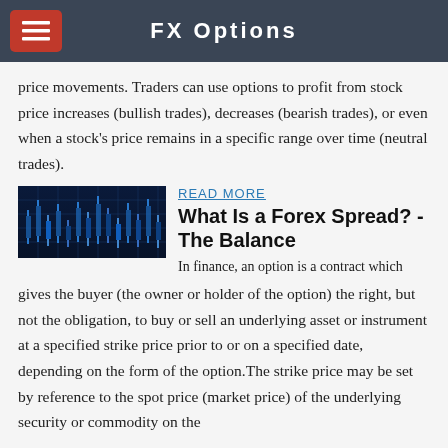FX Options
price movements. Traders can use options to profit from stock price increases (bullish trades), decreases (bearish trades), or even when a stock's price remains in a specific range over time (neutral trades).
[Figure (photo): A dark blue financial chart/trading screen image showing candlestick or bar chart data in blue tones]
READ MORE
What Is a Forex Spread? - The Balance
In finance, an option is a contract which gives the buyer (the owner or holder of the option) the right, but not the obligation, to buy or sell an underlying asset or instrument at a specified strike price prior to or on a specified date, depending on the form of the option.The strike price may be set by reference to the spot price (market price) of the underlying security or commodity on the